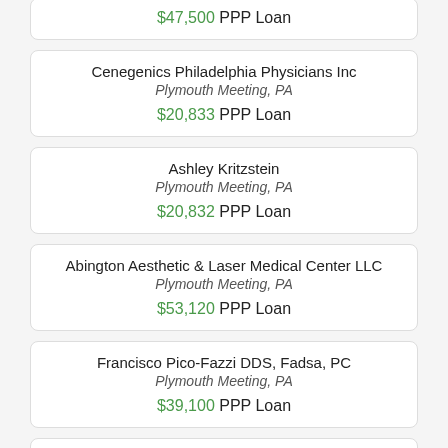$47,500 PPP Loan
Cenegenics Philadelphia Physicians Inc
Plymouth Meeting, PA
$20,833 PPP Loan
Ashley Kritzstein
Plymouth Meeting, PA
$20,832 PPP Loan
Abington Aesthetic & Laser Medical Center LLC
Plymouth Meeting, PA
$53,120 PPP Loan
Francisco Pico-Fazzi DDS, Fadsa, PC
Plymouth Meeting, PA
$39,100 PPP Loan
Eye Plastic Surgery PC
Plymouth Meeting, PA